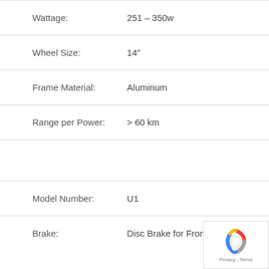| Attribute | Value |
| --- | --- |
| Wattage: | 251 – 350w |
| Wheel Size: | 14" |
| Frame Material: | Aluminum |
| Range per Power: | > 60 km |
| Model Number: | U1 |
| Brake: | Disc Brake for Front/Rear |
[Figure (logo): reCAPTCHA badge with Google logo and Privacy - Terms text]